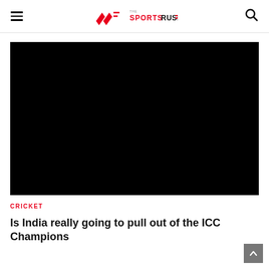The Sports Rush
[Figure (photo): Black hero image placeholder for article]
CRICKET
Is India really going to pull out of the ICC Champions